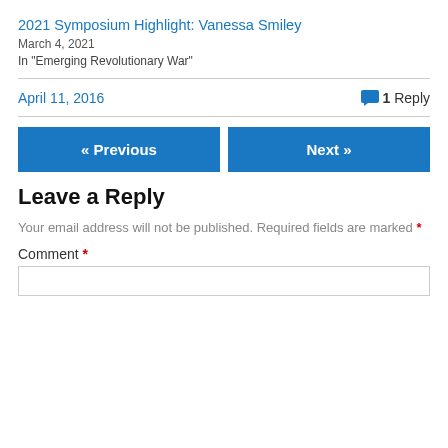2021 Symposium Highlight: Vanessa Smiley
March 4, 2021
In "Emerging Revolutionary War"
April 11, 2016   1 Reply
« Previous   Next »
Leave a Reply
Your email address will not be published. Required fields are marked *
Comment *